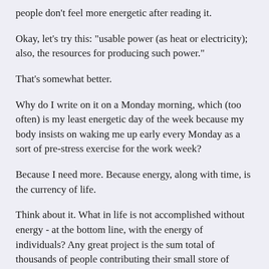people don't feel more energetic after reading it.
Okay, let's try this: "usable power (as heat or electricity); also, the resources for producing such power."
That's somewhat better.
Why do I write on it on a Monday morning, which (too often) is my least energetic day of the week because my body insists on waking me up early every Monday as a sort of pre-stress exercise for the work week?
Because I need more. Because energy, along with time, is the currency of life.
Think about it. What in life is not accomplished without energy - at the bottom line, with the energy of individuals? Any great project is the sum total of thousands of people contributing their small store of energy through their work to the large whole. Likewise, any personal project is also (ultimately) dependent on the energy of the individual to accomplish it.